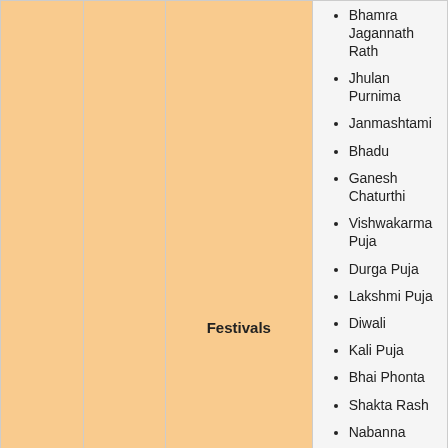Bhamra Jagannath Rath
Jhulan Purnima
Janmashtami
Bhadu
Ganesh Chaturthi
Vishwakarma Puja
Durga Puja
Lakshmi Puja
Diwali
Kali Puja
Bhai Phonta
Shakta Rash
Nabanna
Jagaddhatri Puja
Kalpataru Day
Swami Vivekananda's Birthday
Makar Sankranti
Maghotsab